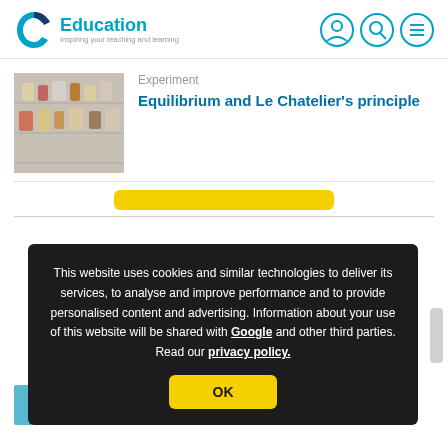[Figure (logo): C Education logo with teal C swoosh, 'Education' text in teal, tagline 'Inspiring your teaching and learning']
[Figure (illustration): Header icons: person/account icon, search icon, hamburger menu icon in teal circles]
[Figure (photo): Photo of chemistry glassware and colored liquids in laboratory setting]
Experiment
Equilibrium and Le Chatelier's principle
This website uses cookies and similar technologies to deliver its services, to analyse and improve performance and to provide personalised content and advertising. Information about your use of this website will be shared with Google and other third parties. Read our privacy policy.